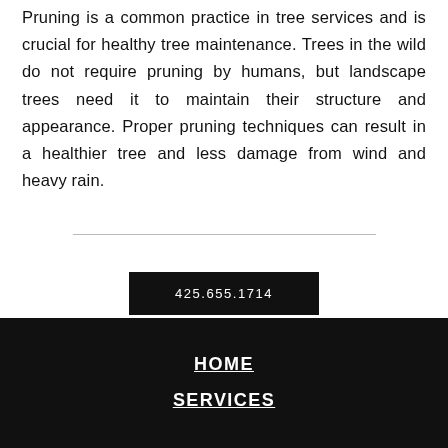Pruning is a common practice in tree services and is crucial for healthy tree maintenance. Trees in the wild do not require pruning by humans, but landscape trees need it to maintain their structure and appearance. Proper pruning techniques can result in a healthier tree and less damage from wind and heavy rain.
425.655.1714
HOME
SERVICES